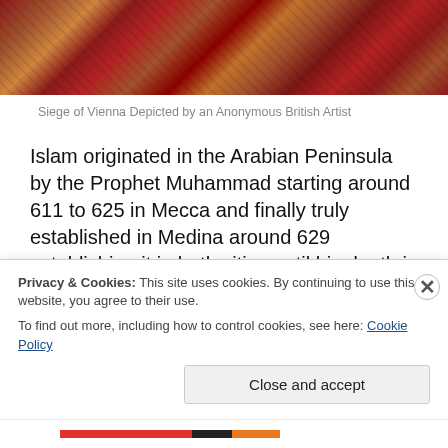[Figure (photo): Painting showing a battle scene from the Siege of Vienna, depicted by an Anonymous British Artist. Figures in red and dark tones fill the composition.]
Siege of Vienna Depicted by an Anonymous British Artist
Islam originated in the Arabian Peninsula by the Prophet Muhammad starting around 611 to 625 in Mecca and finally truly established in Medina around 629 establishing it in both cities until his death in 632. This led to the Rashidun Caliphs who ruled and expanded Islam from 632 through 661, and were succeeded by the Umayyad Caliphs
Privacy & Cookies: This site uses cookies. By continuing to use this website, you agree to their use.
To find out more, including how to control cookies, see here: Cookie Policy
Close and accept